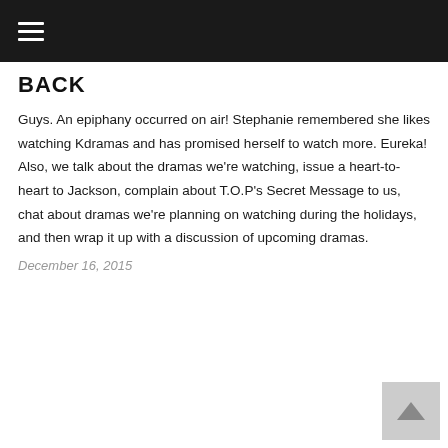☰
BACK
Guys. An epiphany occurred on air! Stephanie remembered she likes watching Kdramas and has promised herself to watch more. Eureka! Also, we talk about the dramas we're watching, issue a heart-to-heart to Jackson, complain about T.O.P's Secret Message to us, chat about dramas we're planning on watching during the holidays, and then wrap it up with a discussion of upcoming dramas.
December 16, 2015